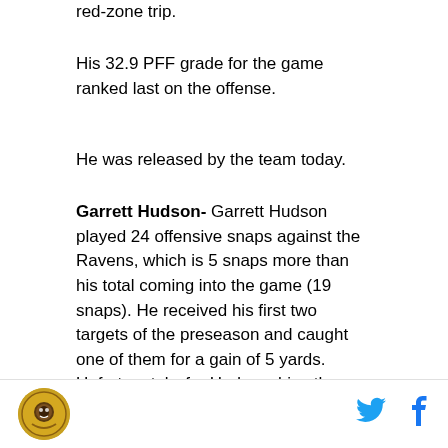red-zone trip.
His 32.9 PFF grade for the game ranked last on the offense.
He was released by the team today.
Garrett Hudson- Garrett Hudson played 24 offensive snaps against the Ravens, which is 5 snaps more than his total coming into the game (19 snaps). He received his first two targets of the preseason and caught one of them for a gain of 5 yards. Unfortunately, for Hudson, his other target was intercepted on third down and returned for a touchdown.
Hudson was also released today.